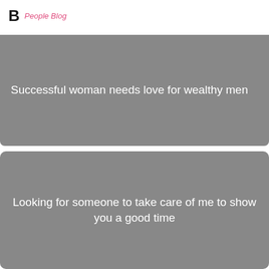B People Blog
Successful woman needs love for wealthy men
Looking for someone to take care of me to show you a good time